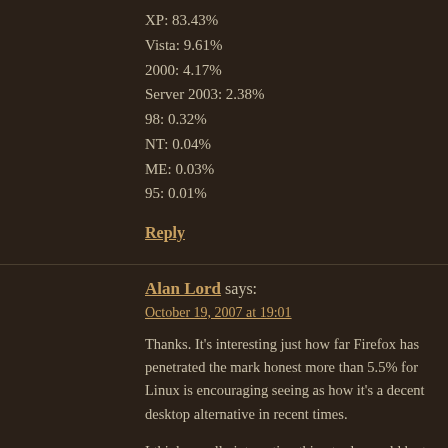XP: 83.43%
Vista: 9.61%
2000: 4.17%
Server 2003: 2.38%
98: 0.32%
NT: 0.04%
ME: 0.03%
95: 0.01%
Reply
Alan Lord says:
October 19, 2007 at 19:01
Thanks. It's interesting just how far Firefox has penetrated the mark honest more than 5.5% for Linux is encouraging seeing as how it's a decent desktop alternative in recent times.
I think a really interesting thing to do would be to track the changes So let's do this again in 6 months and see what's changed!
Thanks
Alan